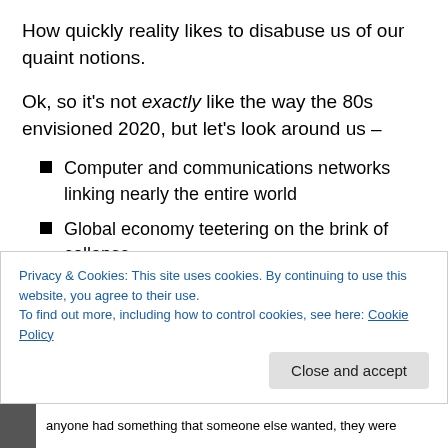How quickly reality likes to disabuse us of our quaint notions.
Ok, so it's not exactly like the way the 80s envisioned 2020, but let's look around us –
Computer and communications networks linking nearly the entire world
Global economy teetering on the brink of collapse
People being socially ostracized for thinking outside the Officially Approved Narrative
Privacy & Cookies: This site uses cookies. By continuing to use this website, you agree to their use. To find out more, including how to control cookies, see here: Cookie Policy
anyone had something that someone else wanted, they were